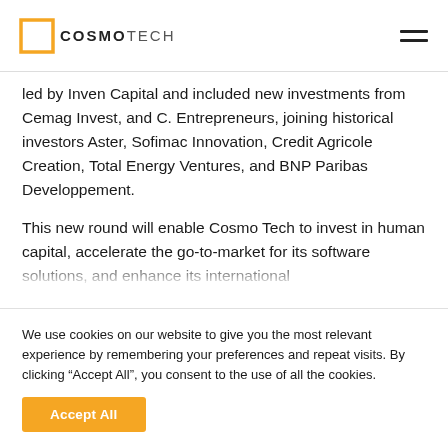COSMOTECH
led by Inven Capital and included new investments from Cemag Invest, and C. Entrepreneurs, joining historical investors Aster, Sofimac Innovation, Credit Agricole Creation, Total Energy Ventures, and BNP Paribas Developpement.
This new round will enable Cosmo Tech to invest in human capital, accelerate the go-to-market for its software solutions, and enhance its international
We use cookies on our website to give you the most relevant experience by remembering your preferences and repeat visits. By clicking “Accept All”, you consent to the use of all the cookies.